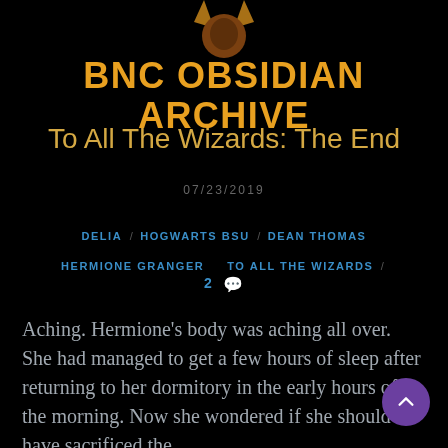[Figure (illustration): Decorative logo icon showing a dark silhouette figure (head/shoulders) in brown/dark tones on black background]
BNC OBSIDIAN ARCHIVE
To All The Wizards: The End
07/23/2019
DELIA / HOGWARTS BSU / DEAN THOMAS HERMIONE GRANGER   TO ALL THE WIZARDS /
2 💬
Aching. Hermione's body was aching all over. She had managed to get a few hours of sleep after returning to her dormitory in the early hours of the morning. Now she wondered if she should have sacrificed the